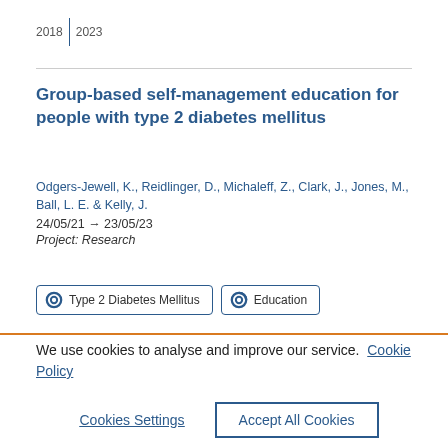2018 | 2023
Group-based self-management education for people with type 2 diabetes mellitus
Odgers-Jewell, K., Reidlinger, D., Michaleff, Z., Clark, J., Jones, M., Ball, L. E. & Kelly, J.
24/05/21 → 23/05/23
Project: Research
Type 2 Diabetes Mellitus  |  Education
We use cookies to analyse and improve our service.  Cookie Policy
Cookies Settings  |  Accept All Cookies